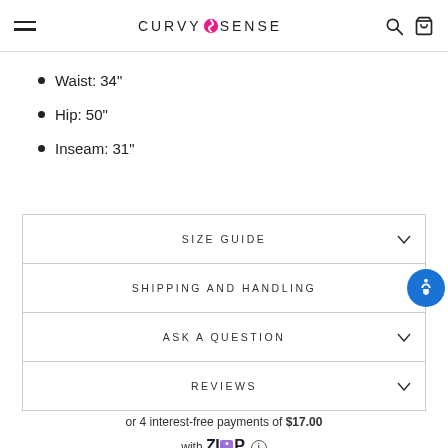CURVYSENSE
Waist: 34"
Hip: 50"
Inseam: 31"
SIZE GUIDE
SHIPPING AND HANDLING
ASK A QUESTION
REVIEWS
or 4 interest-free payments of $17.00 with Zip